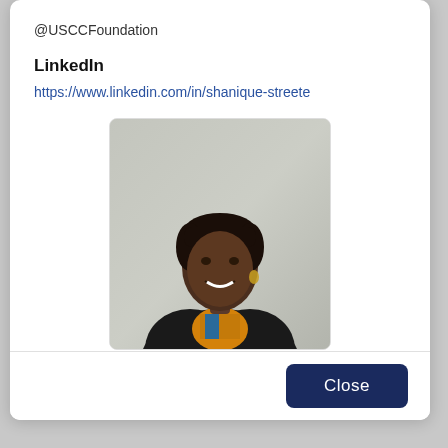@USCCFoundation
LinkedIn
https://www.linkedin.com/in/shanique-streete
[Figure (photo): Professional headshot of a smiling woman with dark hair pulled back, wearing a black blazer over a colorful patterned top, against a grey background.]
Close